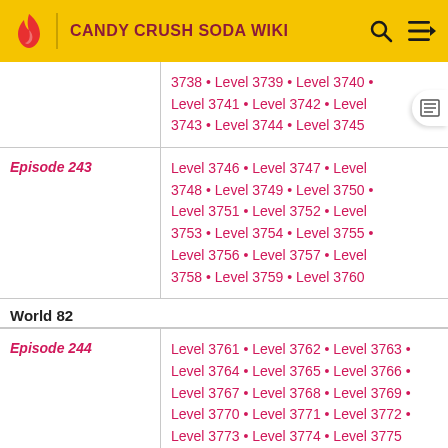CANDY CRUSH SODA WIKI
| Episode | Levels |
| --- | --- |
| (continuation) | 3738 • Level 3739 • Level 3740 • Level 3741 • Level 3742 • Level 3743 • Level 3744 • Level 3745 |
| Episode 243 | Level 3746 • Level 3747 • Level 3748 • Level 3749 • Level 3750 • Level 3751 • Level 3752 • Level 3753 • Level 3754 • Level 3755 • Level 3756 • Level 3757 • Level 3758 • Level 3759 • Level 3760 |
| World 82 |  |
| Episode 244 | Level 3761 • Level 3762 • Level 3763 • Level 3764 • Level 3765 • Level 3766 • Level 3767 • Level 3768 • Level 3769 • Level 3770 • Level 3771 • Level 3772 • Level 3773 • Level 3774 • Level 3775 |
| Episode 245 | Level 3776 • Level 3777 • Level 3778 • |